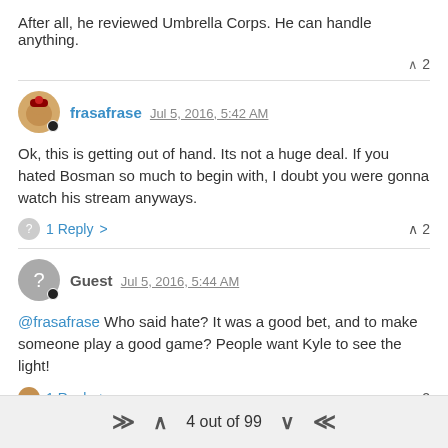After all, he reviewed Umbrella Corps. He can handle anything.
▲ 2
frasafrase Jul 5, 2016, 5:42 AM
Ok, this is getting out of hand. Its not a huge deal. If you hated Bosman so much to begin with, I doubt you were gonna watch his stream anyways.
1 Reply >  ▲ 2
Guest Jul 5, 2016, 5:44 AM
@frasafrase Who said hate? It was a good bet, and to make someone play a good game? People want Kyle to see the light!
1 Reply >  ▲ 2
frasafrase Jul 5, 2016, 5:46 AM
@ZyloWolfBane To play a game he has already played before? This...
4 out of 99